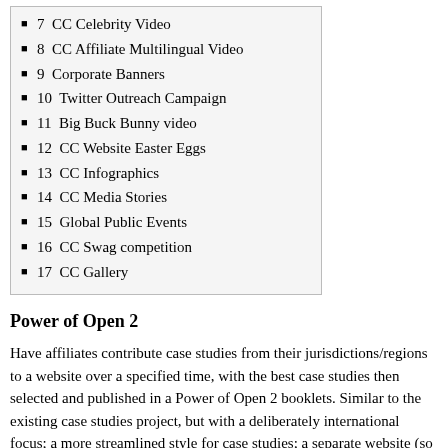7  CC Celebrity Video
8  CC Affiliate Multilingual Video
9  Corporate Banners
10  Twitter Outreach Campaign
11  Big Buck Bunny video
12  CC Website Easter Eggs
13  CC Infographics
14  CC Media Stories
15  Global Public Events
16  CC Swag competition
17  CC Gallery
Power of Open 2
Have affiliates contribute case studies from their jurisdictions/regions to a website over a specified time, with the best case studies then selected and published in a Power of Open 2 booklets. Similar to the existing case studies project, but with a deliberately international focus; a more streamlined style for case studies; a separate website (so can be promoted and searched more effectively); and an incentive to create quality case studies (ie possible publication).
Contact: Jessica Coates; Jane Park